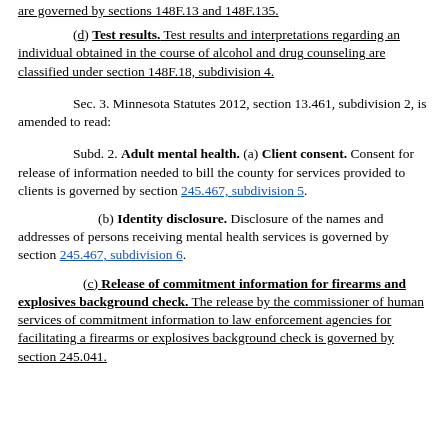are governed by sections 148F.13 and 148F.135.
(d) Test results. Test results and interpretations regarding an individual obtained in the course of alcohol and drug counseling are classified under section 148F.18, subdivision 4.
Sec. 3. Minnesota Statutes 2012, section 13.461, subdivision 2, is amended to read:
Subd. 2. Adult mental health. (a) Client consent. Consent for release of information needed to bill the county for services provided to clients is governed by section 245.467, subdivision 5.
(b) Identity disclosure. Disclosure of the names and addresses of persons receiving mental health services is governed by section 245.467, subdivision 6.
(c) Release of commitment information for firearms and explosives background check. The release by the commissioner of human services of commitment information to law enforcement agencies for facilitating a firearms or explosives background check is governed by section 245.041.